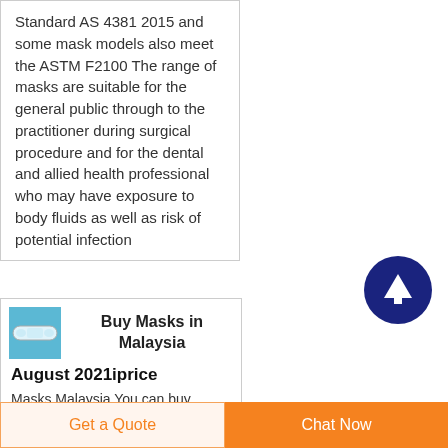Standard AS 4381 2015 and some mask models also meet the ASTM F2100 The range of masks are suitable for the general public through to the practitioner during surgical procedure and for the dental and allied health professional who may have exposure to body fluids as well as risk of potential infection
[Figure (illustration): Dark navy blue circular button with white upward arrow icon (scroll-to-top button)]
[Figure (photo): Small product thumbnail image showing a mask on a blue background]
Buy Masks in Malaysia
August 2021iprice
Masks Malaysia You can buy
Get a Quote | Chat Now